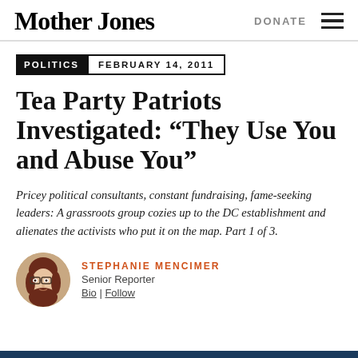Mother Jones | DONATE
POLITICS  FEBRUARY 14, 2011
Tea Party Patriots Investigated: “They Use You and Abuse You”
Pricey political consultants, constant fundraising, fame-seeking leaders: A grassroots group cozies up to the DC establishment and alienates the activists who put it on the map. Part 1 of 3.
STEPHANIE MENCIMER
Senior Reporter
Bio | Follow